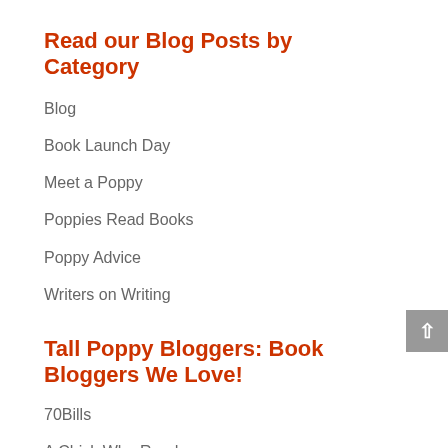Read our Blog Posts by Category
Blog
Book Launch Day
Meet a Poppy
Poppies Read Books
Poppy Advice
Writers on Writing
Tall Poppy Bloggers: Book Bloggers We Love!
70Bills
A Chick Who Reads
A Well-Read Tart